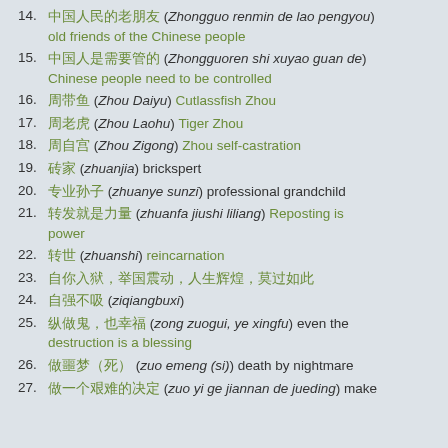14. 中国人民的老朋友 (Zhongguo renmin de lao pengyou) old friends of the Chinese people
15. 中国人是需要管的 (Zhongguoren shi xuyao guan de) Chinese people need to be controlled
16. 周带鱼 (Zhou Daiyu) Cutlassfish Zhou
17. 周老虎 (Zhou Laohu) Tiger Zhou
18. 周自宫 (Zhou Zigong) Zhou self-castration
19. 砖家 (zhuanjia) brickspert
20. 专业孙子 (zhuanye sunzi) professional grandchild
21. 转发就是力量 (zhuanfa jiushi liliang) Reposting is power
22. 转世 (zhuanshi) reincarnation
23. 自你入狱，举国震动，人生辉煌，莫过如此
24. 自强不吸 (ziqiangbuxi)
25. 纵做鬼，也幸福 (zong zuogui, ye xingfu) even the destruction is a blessing
26. 做噩梦（死） (zuo emeng (si)) death by nightmare
27. 做一个艰难的决定 (zuo yi ge jiannan de jueding) make